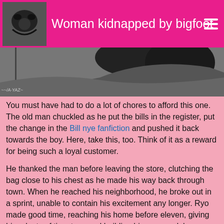Woman kidnapped by bigfoot
[Figure (illustration): Partial illustration showing dark figure against grey background, appears to be a comic or fan art drawing with a signature at bottom left]
You must have had to do a lot of chores to afford this one. The old man chuckled as he put the bills in the register, put the change in the Bill nye fanfiction and pushed it back towards the boy. Here, take this, too. Think of it as a reward for being such a loyal customer.
He thanked the man before leaving the store, clutching the bag close to his chest as he made his way back through town. When he reached his neighborhood, he broke out in a sprint, unable to contain his excitement any longer. Ryo made good time, reaching his home before eleven, giving him plenty of time to spend building his new model.
Office bitch (tg/ap)